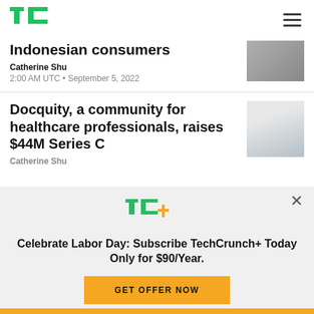TechCrunch logo + navigation menu
Indonesian consumers
Catherine Shu
2:00 AM UTC • September 5, 2022
Docquity, a community for healthcare professionals, raises $44M Series C
Catherine Shu
[Figure (infographic): TechCrunch+ promotional banner with TC+ logo, subscription offer text and GET OFFER NOW button]
Celebrate Labor Day: Subscribe TechCrunch+ Today Only for $90/Year.
GET OFFER NOW